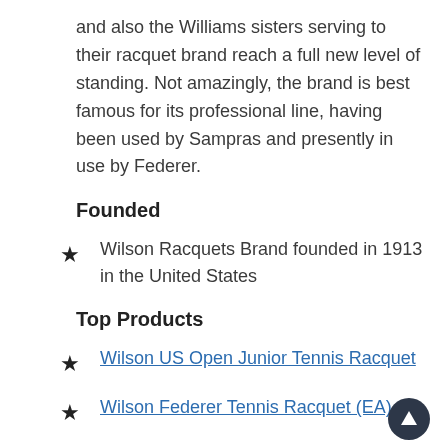and also the Williams sisters serving to their racquet brand reach a full new level of standing. Not amazingly, the brand is best famous for its professional line, having been used by Sampras and presently in use by Federer.
Founded
Wilson Racquets Brand founded in 1913 in the United States
Top Products
Wilson US Open Junior Tennis Racquet
Wilson Federer Tennis Racquet (EA)